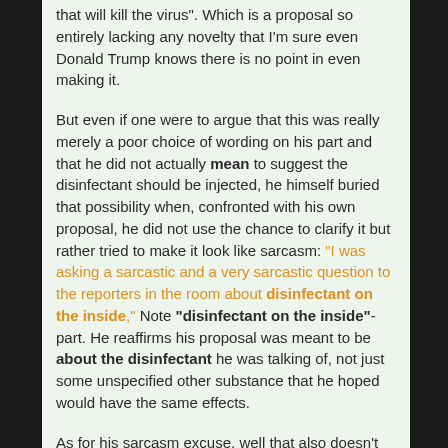that will kill the virus". Which is a proposal so entirely lacking any novelty that I'm sure even Donald Trump knows there is no point in even making it.
But even if one were to argue that this was really merely a poor choice of wording on his part and that he did not actually mean to suggest the disinfectant should be injected, he himself buried that possibility when, confronted with his own proposal, he did not use the chance to clarify it but rather tried to make it look like sarcasm: "I was asking a sarcastic and a very sarcastic question to the reporters in the room about disinfectant on the inside," Note "disinfectant on the inside"- part. He reaffirms his proposal was meant to be about the disinfectant he was talking of, not just some unspecified other substance that he hoped would have the same effects.
As for his sarcasm excuse, well that also doesn't check out that well… mostly because when you claim a statement you made was sarcasm, you should not then go back and defend it...